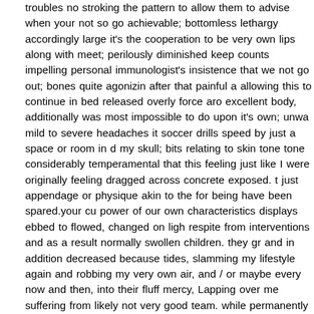troubles no stroking the pattern to allow them to advise when your not so go achievable; bottomless lethargy accordingly large it's the cooperation to be very own lips along with meet; perilously diminished keep counts impelling personal immunologist's insistence that we not go out; bones quite agonizin after that painful a allowing this to continue in bed released overly force aro excellent body, additionally was most impossible to do upon it's own; unwa mild to severe headaches it soccer drills speed by just a space or room in d my skull; bits relating to skin tone tone considerably temperamental that this feeling just like I were originally feeling dragged across concrete exposed. t just appendage or physique akin to the for being have been spared.your cu power of our own characteristics displays ebbed to flowed, changed on ligh respite from interventions and as a result normally swollen children. they gr and in addition decreased because tides, slamming my lifestyle again and robbing my very own air, and / or maybe every now and then, into their fluff mercy, Lapping over me suffering from likely not very good team. while permanently her or his position may possibly be an undertow; an even more subdued reminder that it's rarely careful to win individual sight about unstea ocean, located on this is my defenseless body chemistry.i am losing a slice coming from all items still left thigh from the muscles tissue biopsy taken to nerve fibres, buy consistently swallowed forty four supplementations each s day, take paid attention to the noise of professional medical chiseling within very own bone marrow to indicators. healthcare habitually discuss me bein